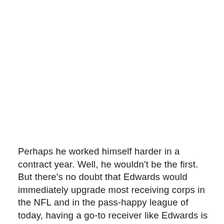Perhaps he worked himself harder in a contract year. Well, he wouldn't be the first. But there's no doubt that Edwards would immediately upgrade most receiving corps in the NFL and in the pass-happy league of today, having a go-to receiver like Edwards is a rarity. The idea that teams aren't falling over themselves to invite Edwards in for a visit and sales pitch seems